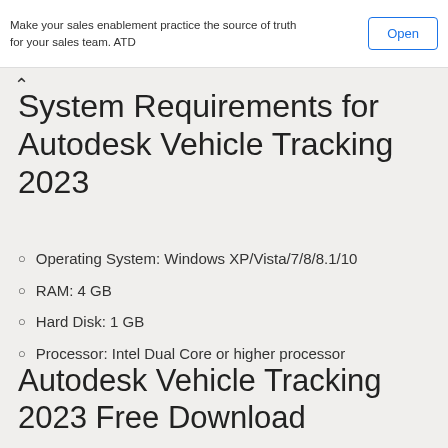Make your sales enablement practice the source of truth for your sales team. ATD
Open
System Requirements for Autodesk Vehicle Tracking 2023
Operating System: Windows XP/Vista/7/8/8.1/10
RAM: 4 GB
Hard Disk: 1 GB
Processor: Intel Dual Core or higher processor
Autodesk Vehicle Tracking 2023 Free Download
Click on the link below to start the Autodesk Vehicle